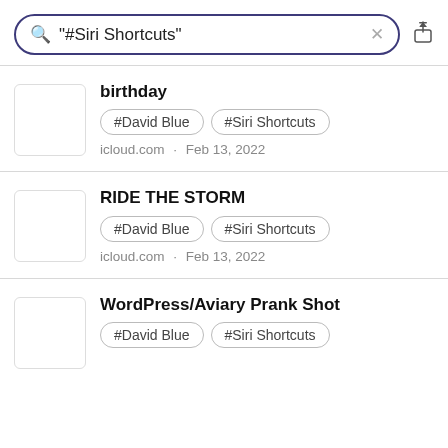[Figure (screenshot): Search bar with query '"#Siri Shortcuts"' and a clear (×) button, plus a share icon to the right]
birthday | #David Blue | #Siri Shortcuts | icloud.com · Feb 13, 2022
RIDE THE STORM | #David Blue | #Siri Shortcuts | icloud.com · Feb 13, 2022
WordPress&#x2F;Aviary Prank Shot | #David Blue | #Siri Shortcuts